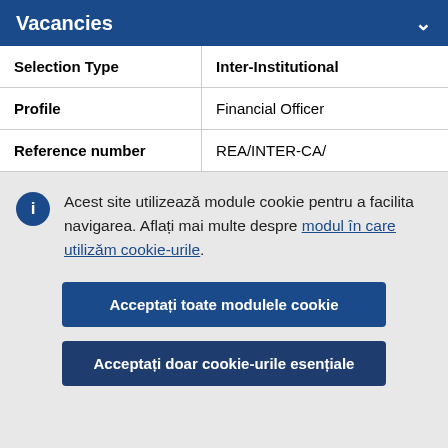Vacancies
| Selection Type | Inter-Institutional |
| --- | --- |
| Profile | Financial Officer |
| Reference number | REA/INTER-CA/ |
Acest site utilizează module cookie pentru a facilita navigarea. Aflați mai multe despre modul în care utilizăm cookie-urile.
Acceptați toate modulele cookie
Acceptați doar cookie-urile esențiale